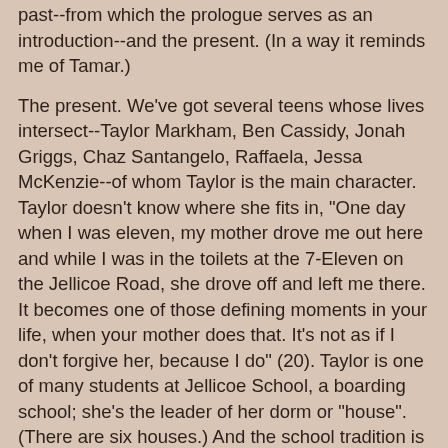past--from which the prologue serves as an introduction--and the present. (In a way it reminds me of Tamar.)
The present. We've got several teens whose lives intersect--Taylor Markham, Ben Cassidy, Jonah Griggs, Chaz Santangelo, Raffaela, Jessa McKenzie--of whom Taylor is the main character. Taylor doesn't know where she fits in, "One day when I was eleven, my mother drove me out here and while I was in the toilets at the 7-Eleven on the Jellicoe Road, she drove off and left me there. It becomes one of those defining moments in your life, when your mother does that. It's not as if I don't forgive her, because I do" (20). Taylor is one of many students at Jellicoe School, a boarding school; she's the leader of her dorm or "house". (There are six houses.) And the school tradition is that there are "wars" between three sects--those that live at the boarding school (led by Taylor), the Townies (led by Chaz Santangelo), and the Cadets (led by Jonah Griggs). These wars involve territories. And these games last six weeks or so. And they're a big deal for those involved. But what at first seems like a senseless, pointless book on children playing war--tactical strategies, trapping, pranking, and such--soon turns into an